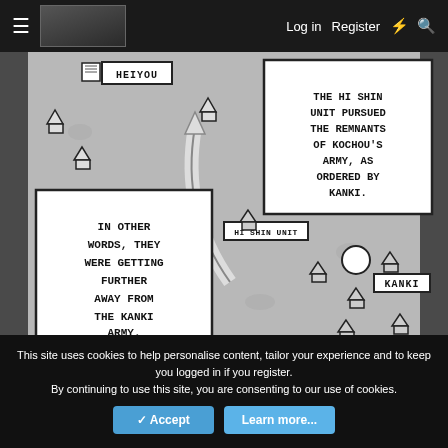Log in  Register
[Figure (illustration): Manga panel showing a battle map scene. Features house/army icons labeled HEIYOU, HI SHIN UNIT, and KANKI with a curved arrow indicating movement direction. Two text boxes describe the Hi Shin Unit pursuing remnants of Kochou's army as ordered by Kanki, and that they were getting further away from the Kanki Army.]
THE HI SHIN UNIT PURSUED THE REMNANTS OF KOCHOU'S ARMY, AS ORDERED BY KANKI.
IN OTHER WORDS, THEY WERE GETTING FURTHER AWAY FROM THE KANKI ARMY.
This site uses cookies to help personalise content, tailor your experience and to keep you logged in if you register.
By continuing to use this site, you are consenting to our use of cookies.